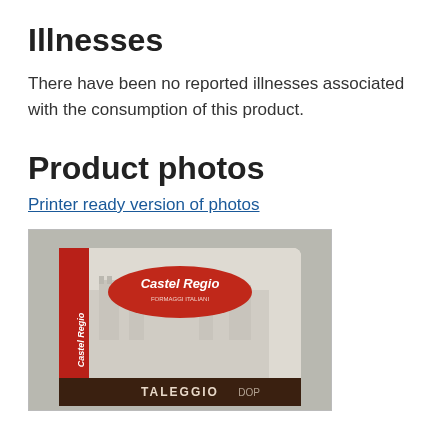Illnesses
There have been no reported illnesses associated with the consumption of this product.
Product photos
Printer ready version of photos
[Figure (photo): Photo of Castel Regio Taleggio DOP cheese product in packaging showing brand name on red label and illustration of castle building, with 'TALEGGIO DOP' printed on brown lower band]